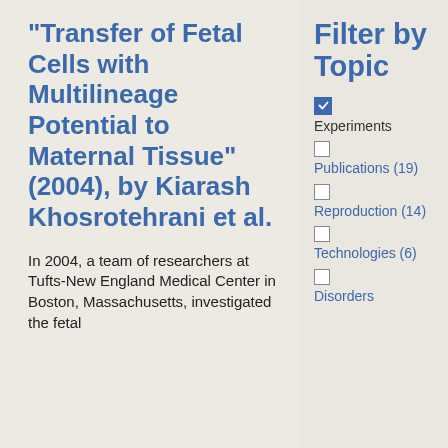"Transfer of Fetal Cells with Multilineage Potential to Maternal Tissue" (2004), by Kiarash Khosrotehrani et al.
In 2004, a team of researchers at Tufts-New England Medical Center in Boston, Massachusetts, investigated the fetal
Filter by Topic
Experiments [checked]
Publications (19) [unchecked]
Reproduction (14) [unchecked]
Technologies (6) [unchecked]
Disorders [partially visible, unchecked]